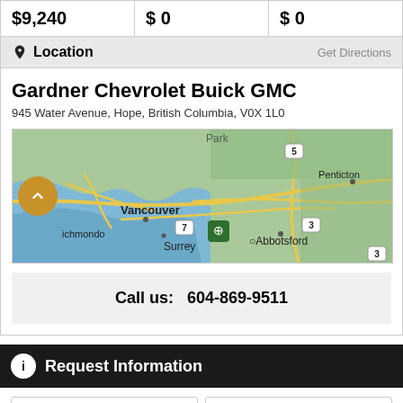| $9,240 | $0 | $0 |
Location    Get Directions
Gardner Chevrolet Buick GMC
945 Water Avenue, Hope, British Columbia, V0X 1L0
[Figure (map): Google Maps view showing southern British Columbia, Canada, with Vancouver, Richmond, Surrey, Abbotsford, and Penticton visible. Roads including highways 5, 7, 3 are shown. A location pin marker is placed near Hope, BC.]
Call us:  604-869-9511
Request Information
First Name